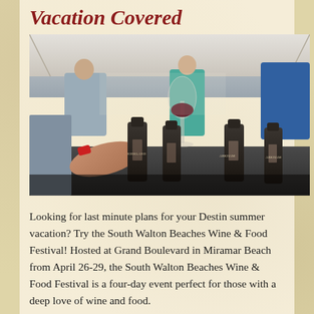Vacation Covered
[Figure (photo): Outdoor wine tasting event under a white tent. Foreground shows a hand with a red wristband holding a wine glass filled with red wine, with multiple dark wine bottles on a table. Background shows attendees and a sunny outdoor setting.]
Looking for last minute plans for your Destin summer vacation? Try the South Walton Beaches Wine & Food Festival! Hosted at Grand Boulevard in Miramar Beach from April 26-29, the South Walton Beaches Wine & Food Festival is a four-day event perfect for those with a deep love of wine and food.
Guests will have the chance to sample more than 800